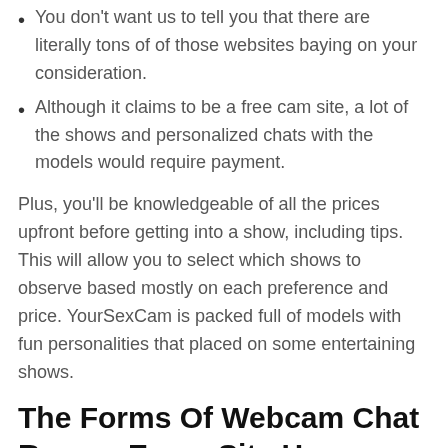You don't want us to tell you that there are literally tons of of those websites baying on your consideration.
Although it claims to be a free cam site, a lot of the shows and personalized chats with the models would require payment.
Plus, you'll be knowledgeable of all the prices upfront before getting into a show, including tips. This will allow you to select which shows to observe based mostly on each preference and price. YourSexCam is packed full of models with fun personalities that placed on some entertaining shows.
The Forms Of Webcam Chat Rooms Every Site Has
Another beauty of the positioning is the huge amount of variety, from solo performers, to both straight and